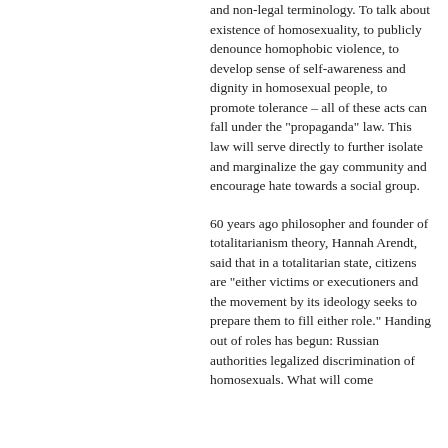and non-legal terminology. To talk about existence of homosexuality, to publicly denounce homophobic violence, to develop sense of self-awareness and dignity in homosexual people, to promote tolerance – all of these acts can fall under the "propaganda" law. This law will serve directly to further isolate and marginalize the gay community and encourage hate towards a social group.
60 years ago philosopher and founder of totalitarianism theory, Hannah Arendt, said that in a totalitarian state, citizens are "either victims or executioners and the movement by its ideology seeks to prepare them to fill either role." Handing out of roles has begun: Russian authorities legalized discrimination of homosexuals. What will come